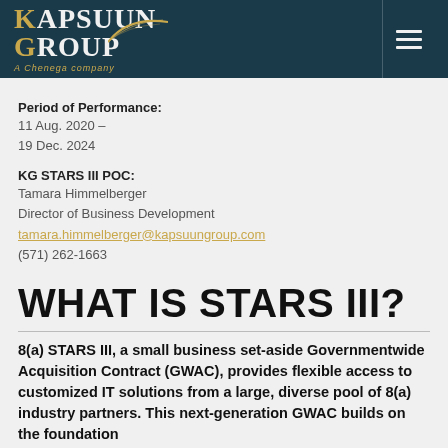[Figure (logo): Kapsuun Group logo — white and gold text on dark teal background with feather graphic and tagline 'A Chenega company'. Hamburger menu icon on right.]
Period of Performance:
11 Aug. 2020 –
19 Dec. 2024
KG STARS III POC:
Tamara Himmelberger
Director of Business Development
tamara.himmelberger@kapsuungroup.com
(571) 262-1663
WHAT IS STARS III?
8(a) STARS III, a small business set-aside Governmentwide Acquisition Contract (GWAC), provides flexible access to customized IT solutions from a large, diverse pool of 8(a) industry partners. This next-generation GWAC builds on the foundation